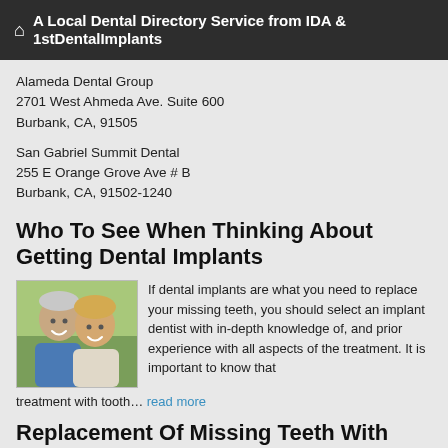A Local Dental Directory Service from IDA & 1stDentalImplants
Alameda Dental Group
2701 West Ahmeda Ave. Suite 600
Burbank, CA, 91505
San Gabriel Summit Dental
255 E Orange Grove Ave # B
Burbank, CA, 91502-1240
Who To See When Thinking About Getting Dental Implants
[Figure (photo): A smiling middle-aged couple, man and woman, close together]
If dental implants are what you need to replace your missing teeth, you should select an implant dentist with in-depth knowledge of, and prior experience with all aspects of the treatment. It is important to know that treatment with tooth... read more
Replacement Of Missing Teeth With Implant Dentistry